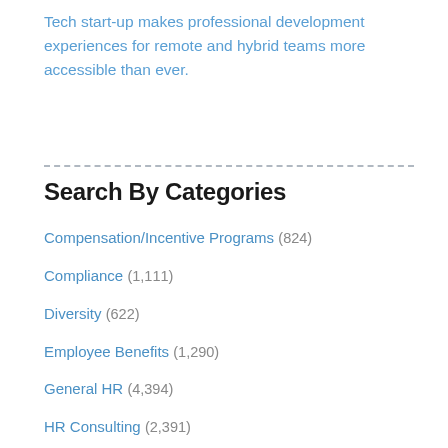Tech start-up makes professional development experiences for remote and hybrid teams more accessible than ever.
Search By Categories
Compensation/Incentive Programs (824)
Compliance (1,111)
Diversity (622)
Employee Benefits (1,290)
General HR (4,394)
HR Consulting (2,391)
HR Technology (7,271)